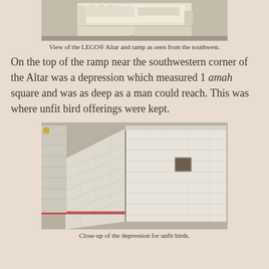[Figure (photo): View of a LEGO Altar and ramp as seen from the southwest, showing cream-colored brick structures on a gray surface.]
View of the LEGO® Altar and ramp as seen from the southwest.
On the top of the ramp near the southwestern corner of the Altar was a depression which measured 1 amah square and was as deep as a man could reach. This was where unfit bird offerings were kept.
[Figure (photo): Close-up of a LEGO model showing the depression in the ramp near the southwestern corner of the Altar, where unfit bird offerings were kept. The model shows cream-white bricks with a small square hole and a red stripe visible.]
Close-up of the depression for unfit birds.